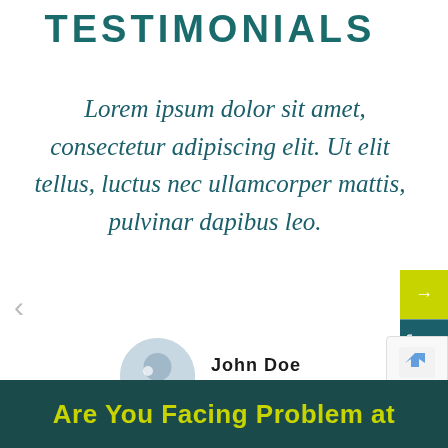TESTIMONIALS
Lorem ipsum dolor sit amet, consectetur adipiscing elit. Ut elit tellus, luctus nec ullamcorper mattis, pulvinar dapibus leo.
John Doe
CEO
Are You Facing Problem at